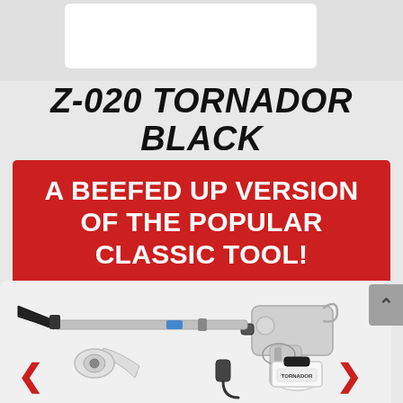[Figure (photo): Partial top of product image, white card/box on gray background]
Z-020 TORNADOR BLACK
A BEEFED UP VERSION OF THE POPULAR CLASSIC TOOL!
[Figure (photo): Tornador Black Z-020 cleaning tool product photo showing gun, hose, nozzle attachments on white background]